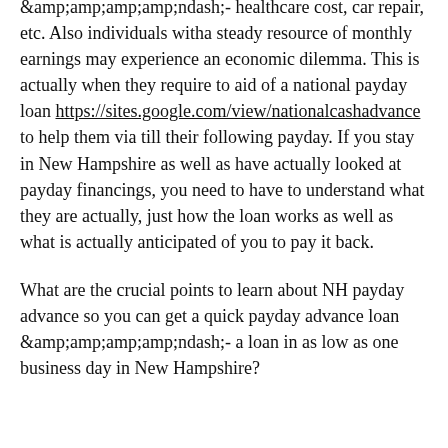&amp;amp;amp;amp;amp;ndash;- healthcare cost, car repair, etc. Also individuals witha steady resource of monthly earnings may experience an economic dilemma. This is actually when they require to aid of a national payday loan https://sites.google.com/view/nationalcashadvance to help them via till their following payday. If you stay in New Hampshire as well as have actually looked at payday financings, you need to have to understand what they are actually, just how the loan works as well as what is actually anticipated of you to pay it back.
What are the crucial points to learn about NH payday advance so you can get a quick payday advance loan &amp;amp;amp;amp;amp;ndash;- a loan in as low as one business day in New Hampshire?